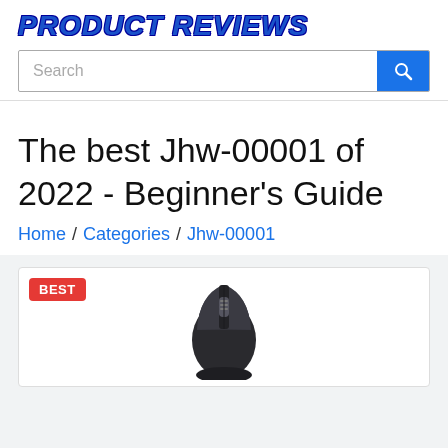PRODUCT REVIEWS
Search
The best Jhw-00001 of 2022 - Beginner's Guide
Home / Categories / Jhw-00001
[Figure (photo): Product image of a dark gaming mouse with scroll wheel, displayed inside a product card with a red BEST badge in the top-left corner.]